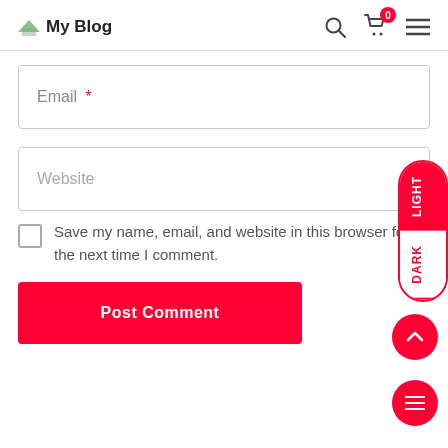My Blog
Email *
Website
Save my name, email, and website in this browser for the next time I comment.
Post Comment
[Figure (screenshot): LIGHT/DARK mode toggle switch on right edge]
[Figure (other): Scroll to top button (red circle with up chevron)]
[Figure (other): Menu button (red circle with three horizontal lines)]